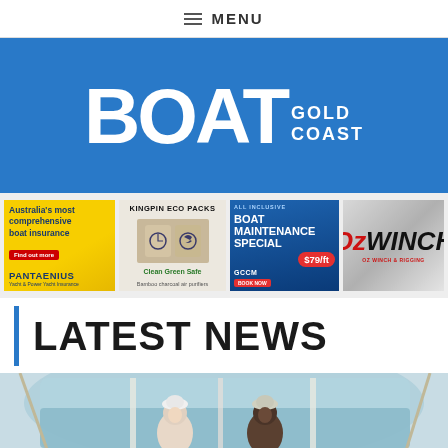≡ MENU
[Figure (logo): BOAT GOLD COAST logo in white on blue background]
[Figure (infographic): Four advertisement banners: Pantaenius boat insurance (yellow), Kingpin Eco Packs (beige with anchor cushions), GCCM Boat Maintenance Special $79/ft (blue), OzWinch (metallic silver)]
LATEST NEWS
[Figure (photo): Two people (a woman and a man) standing inside a boat cabin/helm station with marina visible through large windows]